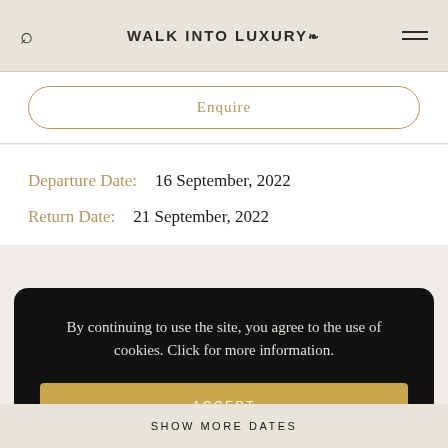WALK INTO LUXURY
Enquire
Departure Date:  16 September, 2022
Return Date:  21 September, 2022
By continuing to use the site, you agree to the use of cookies. Click for more information.
ACCEPT
SHOW MORE DATES